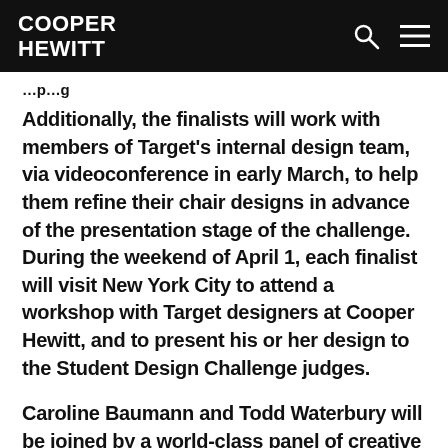COOPER HEWITT
Additionally, the finalists will work with members of Target's internal design team, via videoconference in early March, to help them refine their chair designs in advance of the presentation stage of the challenge. During the weekend of April 1, each finalist will visit New York City to attend a workshop with Target designers at Cooper Hewitt, and to present his or her design to the Student Design Challenge judges.
Caroline Baumann and Todd Waterbury will be joined by a world-class panel of creative experts to evaluate the finalists' designs and select a winner in early April, including Walter Hood, principal and founder, Hood Design; Steven Keating, head of Performance Footwear Design, PUMA; Rachel